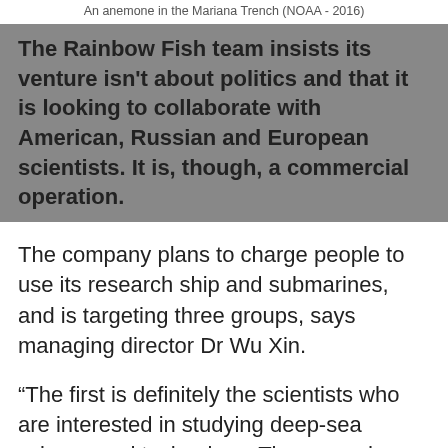An anemone in the Mariana Trench (NOAA - 2016)
The Rainbow Fish team insists its venture isn't about politics and that it is looking to collaborate with American, Russian and European scientists. It is, though, a commercial operation.
The company plans to charge people to use its research ship and submarines, and is targeting three groups, says managing director Dr Wu Xin.
“The first is definitely the scientists who are interested in studying deep-sea science and technology. The second group is offshore companies and oil companies. The last one is tourists and adventurers [who] want to go down themselves to have a look at what’s going on there,” he says.
This kind of entrepreneurial approach may be a new model for science in China. Cui Weicheng says moving away from state-funded research can provide more freedom. Government-funded projects can be bureaucratic and